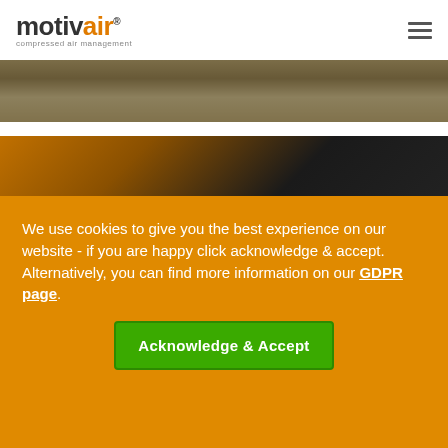motivair® compressed air management
[Figure (photo): Top strip photo showing an outdoor pavement/walkway scene with brick building, warm brown tones]
[Figure (photo): Bottom strip photo showing dark silhouette with orange/amber background tones]
We use cookies to give you the best experience on our website - if you are happy click acknowledge & accept. Alternatively, you can find more information on our GDPR page.
Acknowledge & Accept